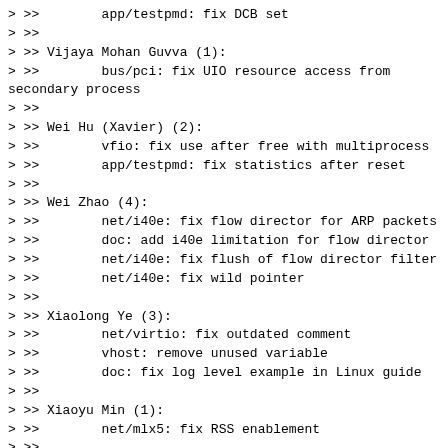> >>        app/testpmd: fix DCB set
> >>
> >> Vijaya Mohan Guvva (1):
> >>        bus/pci: fix UIO resource access from secondary process
> >>
> >> Wei Hu (Xavier) (2):
> >>        vfio: fix use after free with multiprocess
> >>        app/testpmd: fix statistics after reset
> >>
> >> Wei Zhao (4):
> >>        net/i40e: fix flow director for ARP packets
> >>        doc: add i40e limitation for flow director
> >>        net/i40e: fix flush of flow director filter
> >>        net/i40e: fix wild pointer
> >>
> >> Xiaolong Ye (3):
> >>        net/virtio: fix outdated comment
> >>        vhost: remove unused variable
> >>        doc: fix log level example in Linux guide
> >>
> >> Xiaoyu Min (1):
> >>        net/mlx5: fix RSS enablement
> >>
> >> Xiaoyun Li (2):
> >>        net/ixgbe/base: update copyright
> >>        net/i40e/base: update copyright
> >>
> >> Xuan Ding (2):
> >>        vhost: prevent zero-copy with incompatible